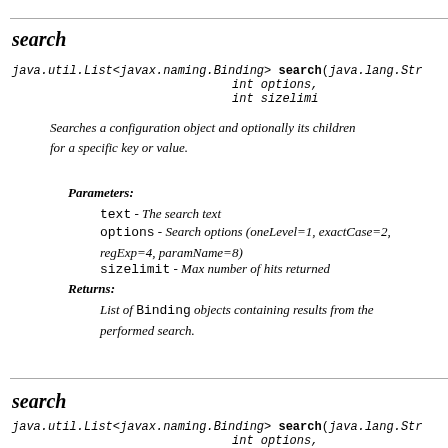search
java.util.List<javax.naming.Binding> search(java.lang.Str…
                                          int options,
                                          int sizelimi…
Searches a configuration object and optionally its children for a specific key or value.
Parameters:
text - The search text
options - Search options (oneLevel=1, exactCase=2, regExp=4, paramName=8)
sizelimit - Max number of hits returned
Returns:
List of Binding objects containing results from the performed search.
search
java.util.List<javax.naming.Binding> search(java.lang.Str…
                                          int options,
                                          int sizelimi…